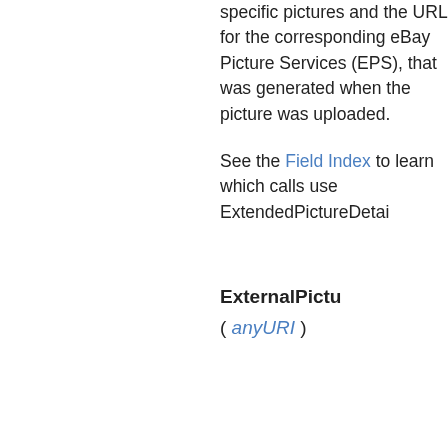specific pictures and the URL for the corresponding eBay Picture Services (EPS), that was generated when the picture was uploaded.
See the Field Index to learn which calls use ExtendedPictureDetail
ExternalPictu
( anyURI )